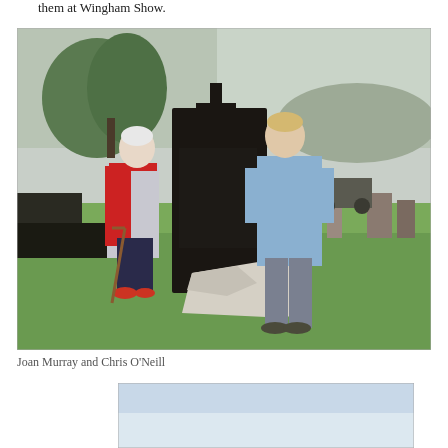them at Wingham Show.
[Figure (photo): Two people standing beside a dark gravestone in a cemetery. The person on the left is an elderly woman wearing a red jacket and dark trousers, using a walking stick. The person on the right is a younger man wearing a light blue shirt and grey trousers. A fallen white stone marker lies on the grass in front of the gravestone. Trees and hills are visible in the background.]
Joan Murray and Chris O'Neill
[Figure (photo): Partial view of another photograph, showing a light blue sky background, cropped at the bottom of the page.]